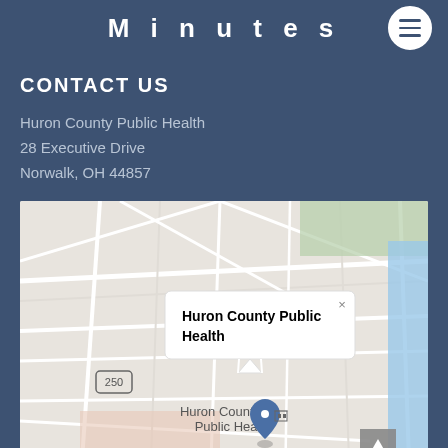Minutes
CONTACT US
Huron County Public Health
28 Executive Drive
Norwalk, OH 44857
[Figure (map): Google Maps screenshot showing Huron County Public Health location in Norwalk, OH with a popup callout reading 'Huron County Public Health']
Tel: 419-668-1652